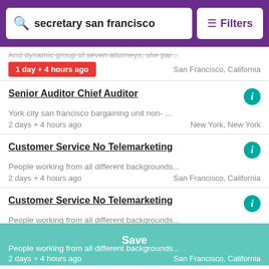secretary san francisco | Filters
And dynamic group of seven attorneys, she par...
1 day + 4 hours ago | San Francisco, California
Senior Auditor Chief Auditor
York city san francisco bargaining unit non- ...
2 days + 4 hours ago | New York, New York
Customer Service No Telemarketing
People working from all different backgrounds...
2 days + 4 hours ago | San Francisco, California
Customer Service No Telemarketing
People working from all different backgrounds...
2 days + 4 hours ago | San Francisco, California
Data Entry
People working from all different backgrounds...
2 days + 4 hours ago | San Francisco, California